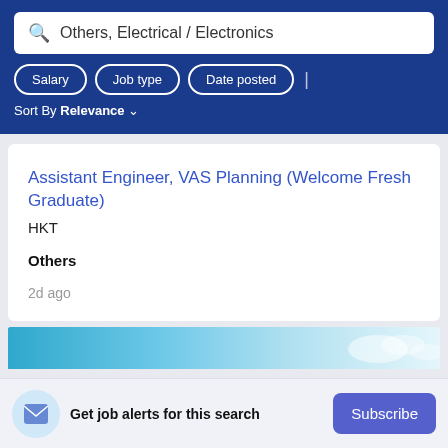Others, Electrical / Electronics
Salary  Job type  Date posted  | Sort By Relevance
Assistant Engineer, VAS Planning (Welcome Fresh Graduate)
HKT
Others
2d ago
Get job alerts for this search
Subscribe